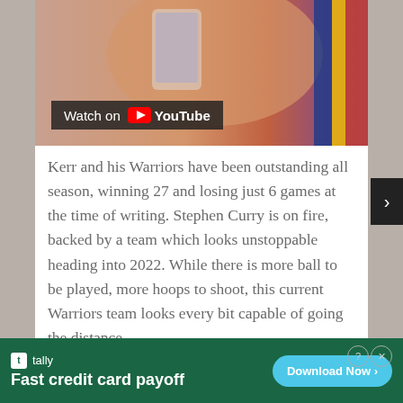[Figure (screenshot): Video thumbnail showing a basketball player, with a 'Watch on YouTube' overlay banner in the lower left]
Kerr and his Warriors have been outstanding all season, winning 27 and losing just 6 games at the time of writing. Stephen Curry is on fire, backed by a team which looks unstoppable heading into 2022. While there is more ball to be played, more hoops to shoot, this current Warriors team looks every bit capable of going the distance.
Of course, everything could still come crashing down during the second half of the
[Figure (screenshot): Advertisement banner for Tally app: 'Fast credit card payoff' with a 'Download Now' button on a green background]